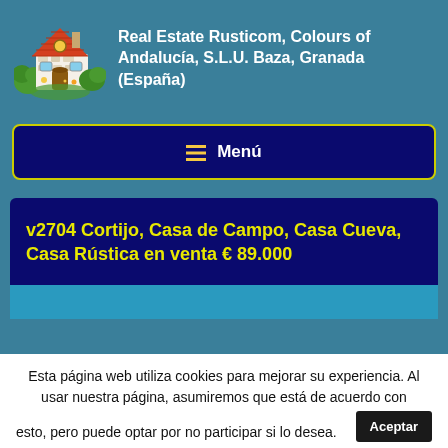[Figure (logo): Cartoon illustration of a rustic Spanish house with red tiled roof, stone walls, wooden door, and surrounding green trees/bushes]
Real Estate Rusticom, Colours of Andalucía, S.L.U. Baza, Granada (España)
≡ Menú
v2704 Cortijo, Casa de Campo, Casa Cueva, Casa Rústica en venta € 89.000
Esta página web utiliza cookies para mejorar su experiencia. Al usar nuestra página, asumiremos que está de acuerdo con esto, pero puede optar por no participar si lo desea.